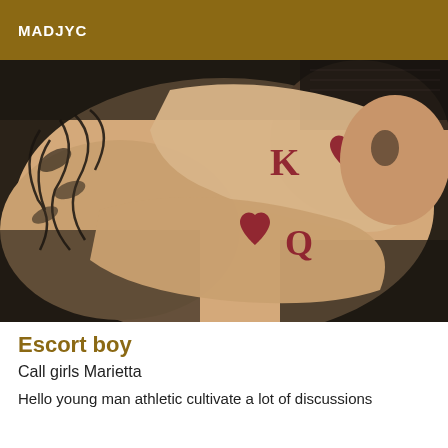MADJYC
[Figure (photo): Close-up photo of two hands interlocked, each showing tattoos: one hand has 'K' with a heart (King of Hearts) tattooed on it, the other has a heart and 'Q' (Queen of Hearts). The background shows a woven dark texture and another tattooed arm with leaf/wing designs.]
Escort boy
Call girls Marietta
Hello young man athletic cultivate a lot of discussions